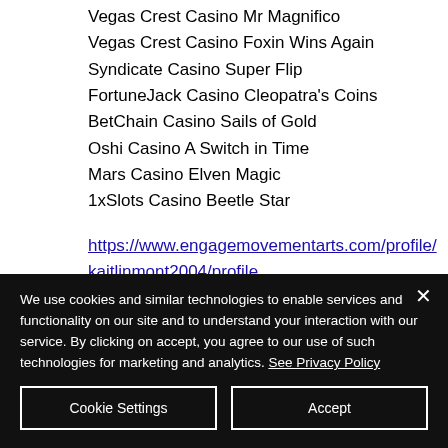Vegas Crest Casino Mr Magnifico
Vegas Crest Casino Foxin Wins Again
Syndicate Casino Super Flip
FortuneJack Casino Cleopatra's Coins
BetChain Casino Sails of Gold
Oshi Casino A Switch in Time
Mars Casino Elven Magic
1xSlots Casino Beetle Star
https://www.engagemovementarts.com/profile/kaitlinmont2004/profile
https://www.bocatechswitches.com/profile/georgiswant1985/profile
We use cookies and similar technologies to enable services and functionality on our site and to understand your interaction with our service. By clicking on accept, you agree to our use of such technologies for marketing and analytics. See Privacy Policy
Cookie Settings
Accept